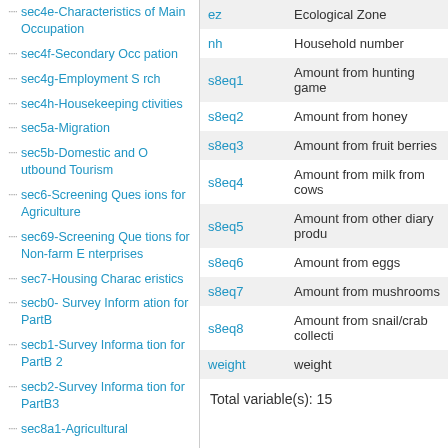sec4e-Characteristics of Main Occupation
sec4f-Secondary Occupation
sec4g-Employment Srch
sec4h-Housekeeping ctivities
sec5a-Migration
sec5b-Domestic and Outbound Tourism
sec6-Screening Questions for Agriculture
sec69-Screening Questions for Non-farm Enterprises
sec7-Housing Characteristics
secb0- Survey Information for PartB
secb1-Survey Information for PartB 2
secb2-Survey Information for PartB3
sec8a1-Agricultural
|  |  |
| --- | --- |
| ez | Ecological Zone |
| nh | Household number |
| s8eq1 | Amount from hunting game |
| s8eq2 | Amount from honey |
| s8eq3 | Amount from fruit berries |
| s8eq4 | Amount from milk from cows |
| s8eq5 | Amount from other diary produ... |
| s8eq6 | Amount from eggs |
| s8eq7 | Amount from mushrooms |
| s8eq8 | Amount from snail/crab collecti... |
| weight | weight |
Total variable(s): 15